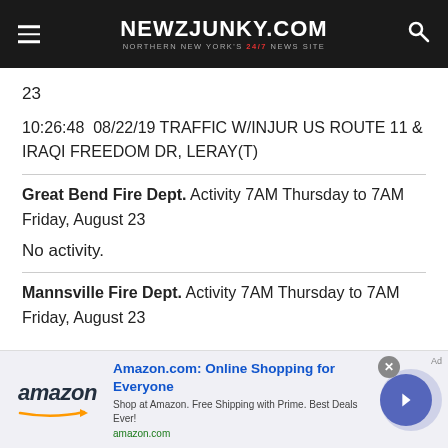NEWZJUNKY.COM — NORTHERN NEW YORK'S 24/7 NEWS SITE
23
10:26:48  08/22/19 TRAFFIC W/INJUR US ROUTE 11 & IRAQI FREEDOM DR, LERAY(T)
Great Bend Fire Dept. Activity 7AM Thursday to 7AM Friday, August 23
No activity.
Mannsville Fire Dept. Activity 7AM Thursday to 7AM Friday, August 23
[Figure (infographic): Amazon advertisement banner: Amazon.com: Online Shopping for Everyone. Shop at Amazon. Free Shipping with Prime. Best Deals Ever! amazon.com]